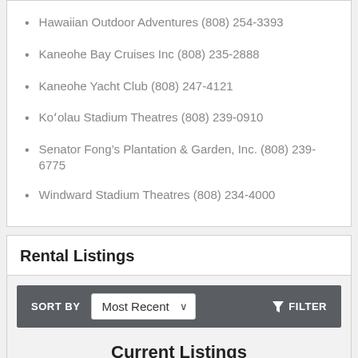Hawaiian Outdoor Adventures (808) 254-3393
Kaneohe Bay Cruises Inc (808) 235-2888
Kaneohe Yacht Club (808) 247-4121
Koʻolau Stadium Theatres (808) 239-0910
Senator Fong’s Plantation & Garden, Inc. (808) 239-6775
Windward Stadium Theatres (808) 234-4000
Rental Listings
SORT BY  Most Recent  FILTER
Current Listings